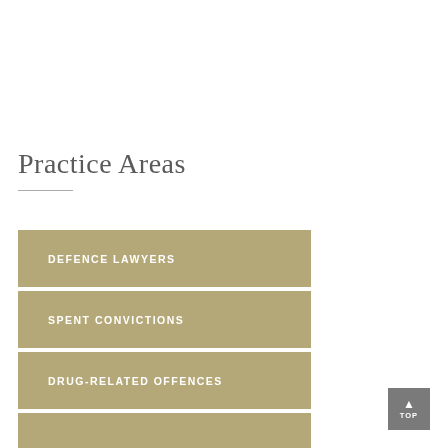Practice Areas
DEFENCE LAWYERS
SPENT CONVICTIONS
DRUG-RELATED OFFENCES